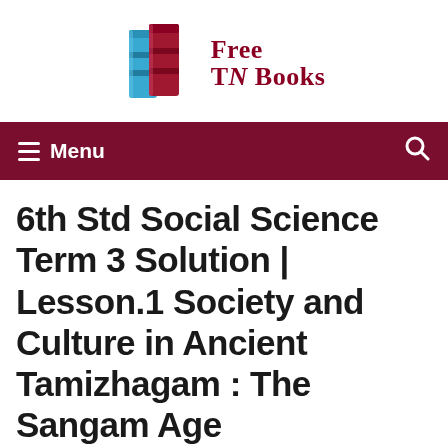[Figure (logo): Free TN Books logo with two stacked books (blue and red) beside the text 'Free TN Books' in dark red serif font]
≡ Menu  🔍
6th Std Social Science Term 3 Solution | Lesson.1 Society and Culture in Ancient Tamizhagam : The Sangam Age
May 19, 2021 by Lingam